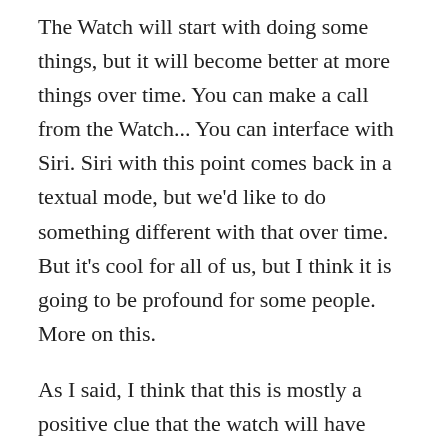The Watch will start with doing some things, but it will become better at more things over time. You can make a call from the Watch... You can interface with Siri. Siri with this point comes back in a textual mode, but we'd like to do something different with that over time. But it's cool for all of us, but I think it is going to be profound for some people. More on this.
As I said, I think that this is mostly a positive clue that the watch will have voice over, but I worry about the line,
"You can interface with Siri. Siri with this point comes back in a textual mode, but we'd like to do something different with that"
The main reason that I worry a bit about this is